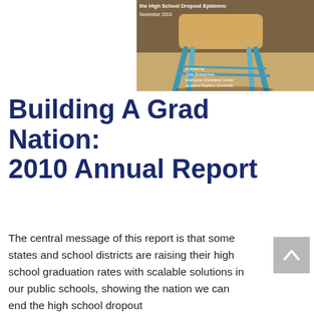[Figure (photo): Cover image of a report titled referencing the High School Dropout Epidemic, November 2010. Shows a wooden school chair with teal/blue legs on a wooden floor. Text reads: 'A report by Civic Enterprises Everyone Graduates Center at Johns Hopkins University'.]
Building A Grad Nation: 2010 Annual Report
The central message of this report is that some states and school districts are raising their high school graduation rates with scalable solutions in our public schools, showing the nation we can end the high school dropout